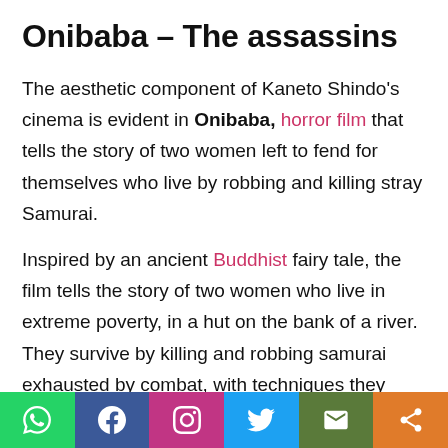Onibaba – The assassins
The aesthetic component of Kaneto Shindo's cinema is evident in Onibaba, horror film that tells the story of two women left to fend for themselves who live by robbing and killing stray Samurai.
Inspired by an ancient Buddhist fairy tale, the film tells the story of two women who live in extreme poverty, in a hut on the bank of a river. They survive by killing and robbing samurai exhausted by combat, with techniques they have refined over time.
One day a neighbor, Hachi, tells the two women that